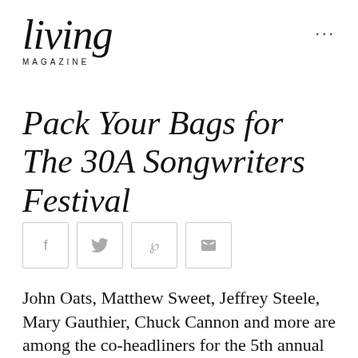living MAGAZINE
Pack Your Bags for The 30A Songwriters Festival
[Figure (other): Social sharing buttons: Facebook (f), Twitter (bird), Pinterest (p), Forward/share (arrow) icons in light gray bordered square buttons]
John Oats, Matthew Sweet, Jeffrey Steele, Mary Gauthier, Chuck Cannon and more are among the co-headliners for the 5th annual event